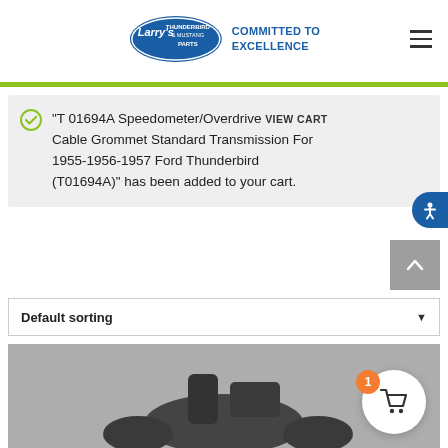[Figure (logo): Larry's Thunderbird & Mustang Parts logo with 'Committed to Excellence' text]
"T 01694A Speedometer/Overdrive VIEW CART Cable Grommet Standard Transmission For 1955-1956-1957 Ford Thunderbird (T01694A)" has been added to your cart.
Default sorting
[Figure (photo): Product photo of a cable grommet part on grey background with cart overlay showing 1 item]